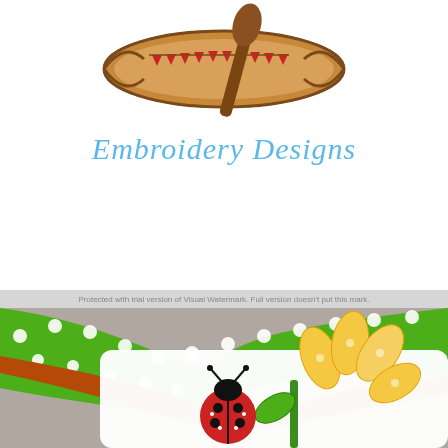[Figure (illustration): Embroidery applique design of a canoe with red triangle bunting flags and a paddle, rendered in tan/brown fabric with zipper-stitch border outline]
Embroidery Designs
Protected with trial version of Visual Watermark. Full version doesn't put this mark.
[Figure (photo): Photo of a white fabric with ladybug and sunflower embroidery applique design, framed by twisted green polka-dot and brown ribbons on a grey wood background]